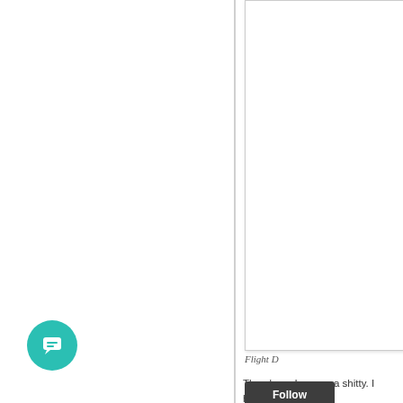[Figure (other): A mostly white document page shown on the right side, with a vertical divider line separating the left blank area from the right content area. The document appears to be a partially visible white page with a border and shadow.]
Flight D
The above Iguassu a shitty. I haven't sho m
[Figure (other): A teal/green circular chat button icon with a speech bubble symbol, positioned in the lower-left area of the page.]